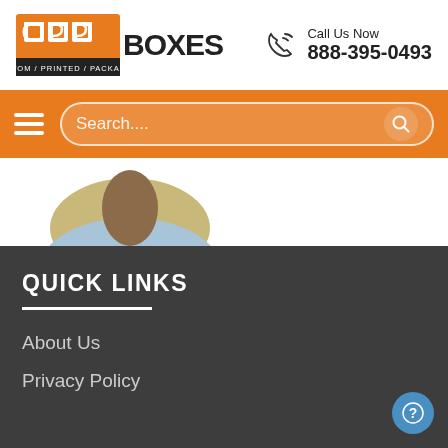[Figure (logo): CPP Boxes logo — orange square with letters CPP and CUSTOM/PRINTED/PACKAGING text, followed by BOXES in bold black]
Call Us Now
888-395-0493
[Figure (screenshot): Orange navigation bar with hamburger menu icon on left, search bar with placeholder 'Search....' and search icon on right]
[Figure (photo): Partial photo of a person's face and upper body in a light blue shirt, cropped at top]
QUICK LINKS
About Us
Privacy Policy